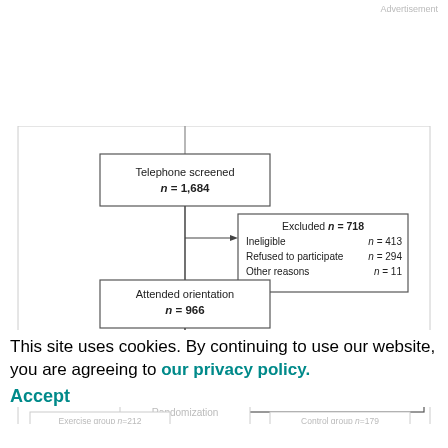Advertisement
[Figure (flowchart): Clinical trial CONSORT flowchart showing: Telephone screened n=1,684 → Excluded n=718 (Ineligible n=413, Refused to participate n=294, Other reasons n=11) → Attended orientation n=966 → Excluded n=575 (Ineligible n=174, Did not consent n=109, Dropped out before randomization n=292) → Randomization → Exercise group n=212 / Control group n=179]
This site uses cookies. By continuing to use our website, you are agreeing to our privacy policy.
Accept